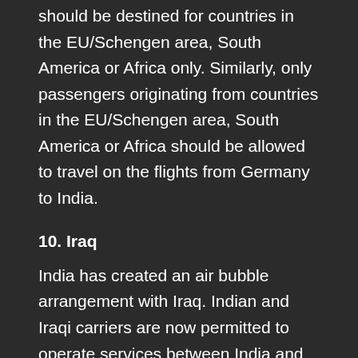should be destined for countries in the EU/Schengen area, South America or Africa only. Similarly, only passengers originating from countries in the EU/Schengen area, South America or Africa should be allowed to travel on the flights from Germany to India.
10. Iraq
India has created an air bubble arrangement with Iraq. Indian and Iraqi carriers are now permitted to operate services between India and Iraq and carry the following categories of persons on such flights:
A. From India to Iraq
i. Nationals/residents of Iraq;
ii. Any Indian national or national of Nepal or Bhutan